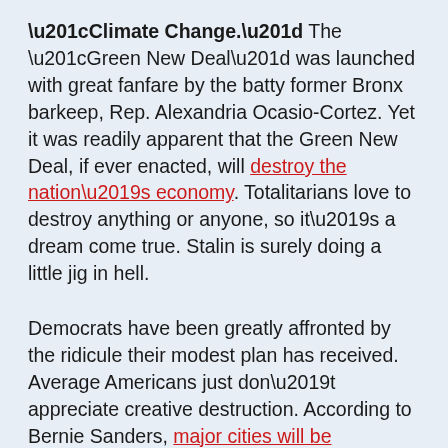“Climate Change.” The “Green New Deal” was launched with great fanfare by the batty former Bronx barkeep, Rep. Alexandria Ocasio-Cortez. Yet it was readily apparent that the Green New Deal, if ever enacted, will destroy the nation’s economy. Totalitarians love to destroy anything or anyone, so it’s a dream come true. Stalin is surely doing a little jig in hell.
Democrats have been greatly affronted by the ridicule their modest plan has received. Average Americans just don’t appreciate creative destruction. According to Bernie Sanders, major cities will be underwater in eight or nine years, anyway. We’re all deader than a 12-pound turkey on Thanksgiving morn. But dour Democrats would rather moan and gnash